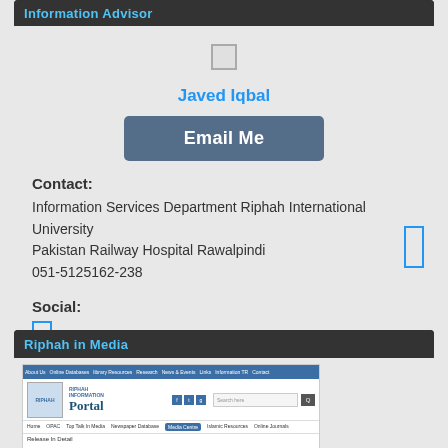Information Advisor
Javed Iqbal
Email Me
Contact:
Information Services Department Riphah International University Pakistan Railway Hospital Rawalpindi
051-5125162-238
Social:
Riphah in Media
[Figure (screenshot): Screenshot of Riphah Information Portal website showing navigation menu, logo, search bar, and Media Centre section selected.]